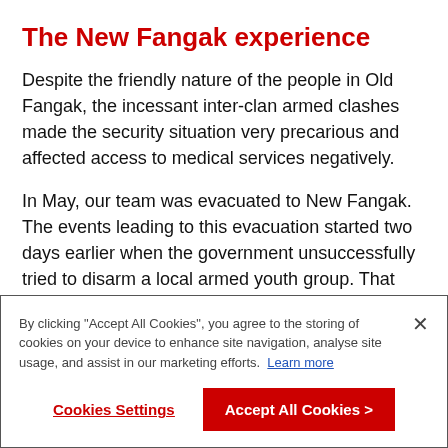The New Fangak experience
Despite the friendly nature of the people in Old Fangak, the incessant inter-clan armed clashes made the security situation very precarious and affected access to medical services negatively.
In May, our team was evacuated to New Fangak. The events leading to this evacuation started two days earlier when the government unsuccessfully tried to disarm a local armed youth group. That morning, there was exchange of gunfire between the two
By clicking "Accept All Cookies", you agree to the storing of cookies on your device to enhance site navigation, analyse site usage, and assist in our marketing efforts. Learn more
Cookies Settings
Accept All Cookies >